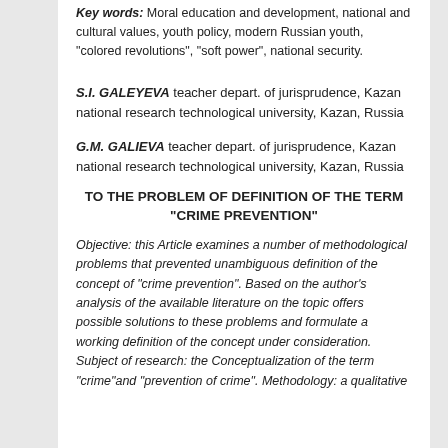Key words: Moral education and development, national and cultural values, youth policy, modern Russian youth, "colored revolutions", "soft power", national security.
S.I. GALEYEVA teacher depart. of jurisprudence, Kazan national research technological university, Kazan, Russia
G.M. GALIEVA teacher depart. of jurisprudence, Kazan national research technological university, Kazan, Russia
TO THE PROBLEM OF DEFINITION OF THE TERM "CRIME PREVENTION"
Objective: this Article examines a number of methodological problems that prevented unambiguous definition of the concept of "crime prevention". Based on the author's analysis of the available literature on the topic offers possible solutions to these problems and formulate a working definition of the concept under consideration. Subject of research: the Conceptualization of the term "crime"and "prevention of crime". Methodology: a qualitative ...